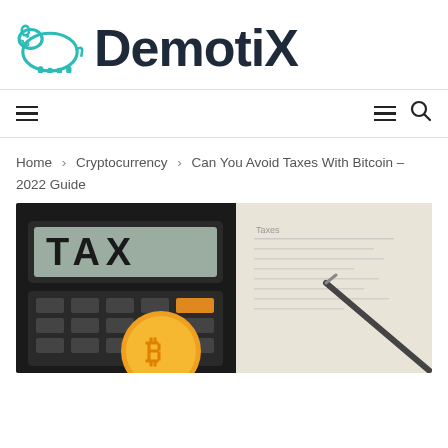[Figure (logo): DemotiX logo with a teal/turquoise hippopotamus outline and bold dark text 'DemotiX']
[Figure (other): Navigation bar with hamburger menu icons and search icon]
Home > Cryptocurrency > Can You Avoid Taxes With Bitcoin – 2022 Guide
[Figure (photo): Photo of a calculator displaying 'TAX', a golden Bitcoin coin, and tax documents with a pen in the background]